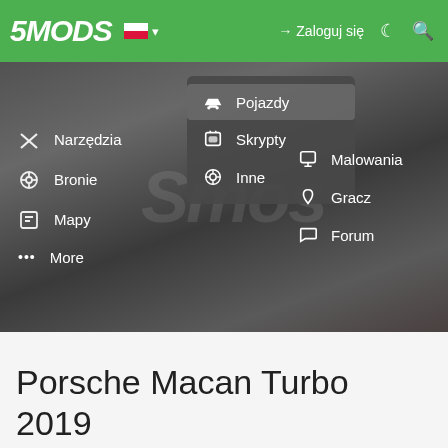5MODS — Zaloguj się
[Figure (screenshot): Website screenshot showing a navigation menu with categories: Narzędzia, Pojazdy (highlighted dropdown with Skrypty, Inne), Malowania, Bronie, Gracz, Mapy, Forum, More — overlaid on a dark game background]
Porsche Macan Turbo 2019 [Add-On / Replace]